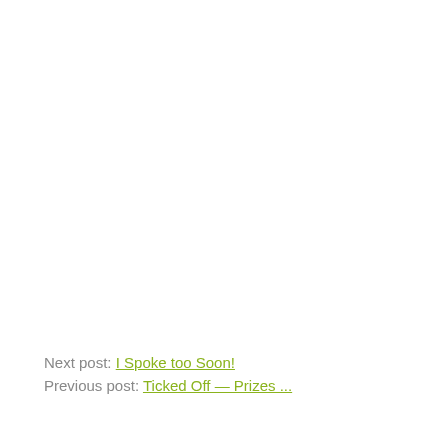Next post: I Spoke too Soon!
Previous post: Ticked Off — Prizes ...